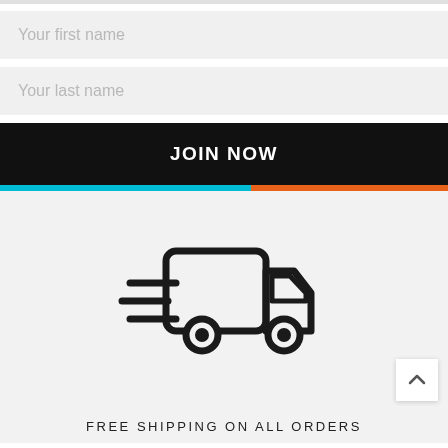Your first name
Your last name
JOIN NOW
[Figure (illustration): Icon of a delivery truck with speed lines, shown in black outline style on a light gray background]
FREE SHIPPING ON ALL ORDERS